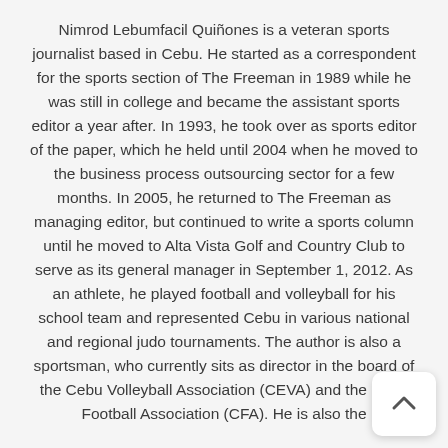Nimrod Lebumfacil Quiñones is a veteran sports journalist based in Cebu. He started as a correspondent for the sports section of The Freeman in 1989 while he was still in college and became the assistant sports editor a year after. In 1993, he took over as sports editor of the paper, which he held until 2004 when he moved to the business process outsourcing sector for a few months. In 2005, he returned to The Freeman as managing editor, but continued to write a sports column until he moved to Alta Vista Golf and Country Club to serve as its general manager in September 1, 2012. As an athlete, he played football and volleyball for his school team and represented Cebu in various national and regional judo tournaments. The author is also a sportsman, who currently sits as director in the board of the Cebu Volleyball Association (CEVA) and the Cebu Football Association (CFA). He is also the